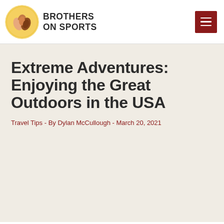BROTHERS ON SPORTS
Extreme Adventures: Enjoying the Great Outdoors in the USA
Travel Tips - By Dylan McCullough - March 20, 2021